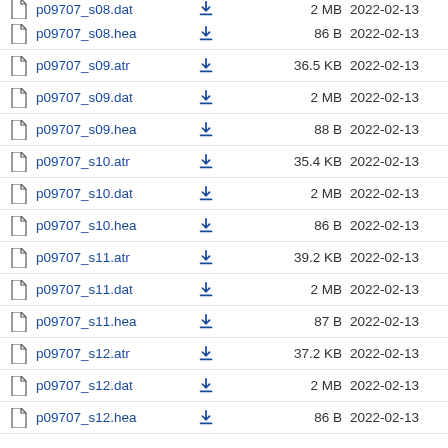p09707_s08.hea  86 B  2022-02-13
p09707_s09.atr  36.5 KB  2022-02-13
p09707_s09.dat  2 MB  2022-02-13
p09707_s09.hea  88 B  2022-02-13
p09707_s10.atr  35.4 KB  2022-02-13
p09707_s10.dat  2 MB  2022-02-13
p09707_s10.hea  86 B  2022-02-13
p09707_s11.atr  39.2 KB  2022-02-13
p09707_s11.dat  2 MB  2022-02-13
p09707_s11.hea  87 B  2022-02-13
p09707_s12.atr  37.2 KB  2022-02-13
p09707_s12.dat  2 MB  2022-02-13
p09707_s12.hea  86 B  2022-02-13